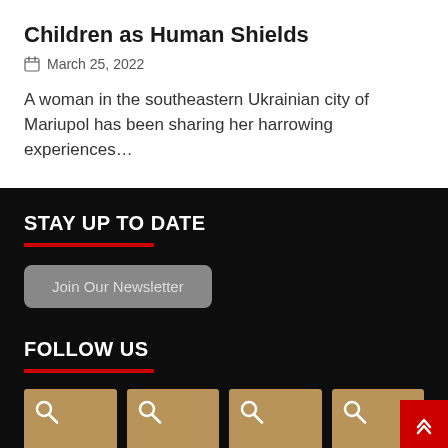Children as Human Shields
March 25, 2022
A woman in the southeastern Ukrainian city of Mariupol has been sharing her harrowing experiences…
STAY UP TO DATE
Join Our Newsletter
FOLLOW US
[Figure (other): Four social media icon placeholder boxes with search icons on tan/brown background]